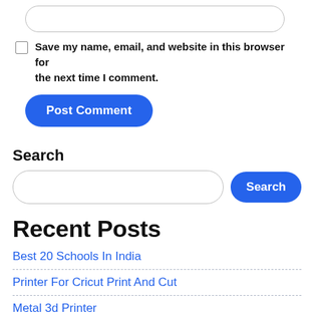[Figure (screenshot): A text input field with rounded borders (empty)]
Save my name, email, and website in this browser for the next time I comment.
Post Comment
Search
Search
Recent Posts
Best 20 Schools In India
Printer For Cricut Print And Cut
Metal 3d Printer